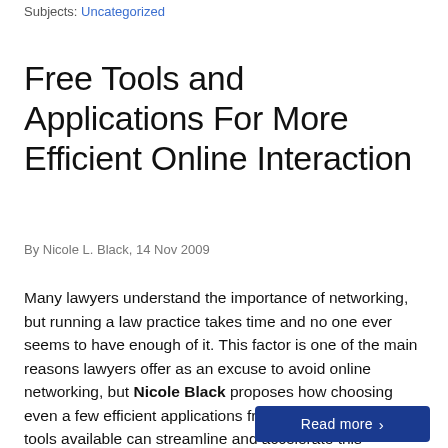Subjects: Uncategorized
Free Tools and Applications For More Efficient Online Interaction
By Nicole L. Black, 14 Nov 2009
Many lawyers understand the importance of networking, but running a law practice takes time and no one ever seems to have enough of it. This factor is one of the main reasons lawyers offer as an excuse to avoid online networking, but Nicole Black proposes how choosing even a few efficient applications from the range of free tools available can streamline and accelerate this marketing process.
Read more →